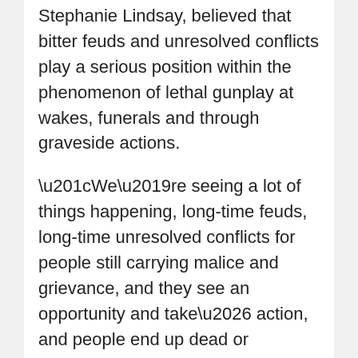Stephanie Lindsay, believed that bitter feuds and unresolved conflicts play a serious position within the phenomenon of lethal gunplay at wakes, funerals and through graveside actions.
“We’re seeing a lot of things happening, long-time feuds, long-time unresolved conflicts for people still carrying malice and grievance, and they see an opportunity and take… action, and people end up dead or seriously injured,” stated Lindsay.
Opportunistic gunmen hardly ever spurn an opportunity to terrorise their enemies, and gatherings are an excellent goal for gun-toting hitmen. Plus, terrified victims and scampering crowds typically present good cowl for the miscreants to make their escape, safety